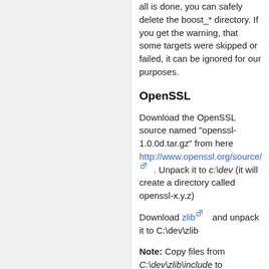all is done, you can safely delete the boost_* directory. If you get the warning, that some targets were skipped or failed, it can be ignored for our purposes.
OpenSSL
Download the OpenSSL source named "openssl-1.0.0d.tar.gz" from here http://www.openssl.org/source/ . Unpack it to c:\dev (it will create a directory called openssl-x.y.z)
Download zlib and unpack it to C:\dev\zlib
Note: Copy files from C:\dev\zlib\include to C:\dev\zlib\ (zconf.h and zlib.h)
[Figure (screenshot): Code box showing 'cd c:\dev']